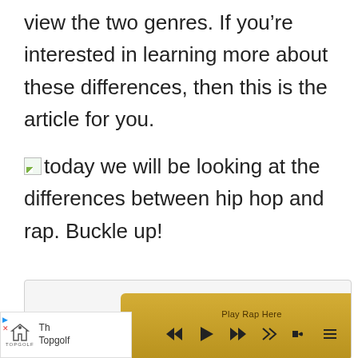view the two genres. If you’re interested in learning more about these differences, then this is the article for you.
today we will be looking at the differences between hip hop and rap. Buckle up!
[Figure (screenshot): A media player widget with golden/tan background showing 'Play Rap Here' label and playback controls including rewind, play, fast-forward, shuffle, volume, and playlist buttons.]
[Figure (screenshot): An advertisement bar showing Topgolf logo and partial text 'The' and 'Topgolf' with navigation arrows.]